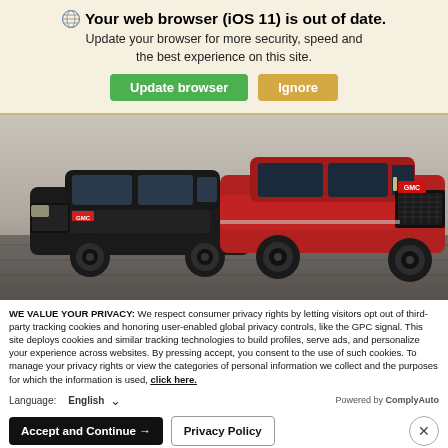🌐 Your web browser (iOS 11) is out of date. Update your browser for more security, speed and the best experience on this site.
[Figure (screenshot): Two GMC SUV vehicles parked on a paved surface — a black GMC Acadia on the left and a red GMC Acadia Denali on the right.]
WE VALUE YOUR PRIVACY: We respect consumer privacy rights by letting visitors opt out of third-party tracking cookies and honoring user-enabled global privacy controls, like the GPC signal. This site deploys cookies and similar tracking technologies to build profiles, serve ads, and personalize your experience across websites. By pressing accept, you consent to the use of such cookies. To manage your privacy rights or view the categories of personal information we collect and the purposes for which the information is used, click here.
Language: English ∨   Powered by ComplyAuto
Accept and Continue → | Privacy Policy | ×